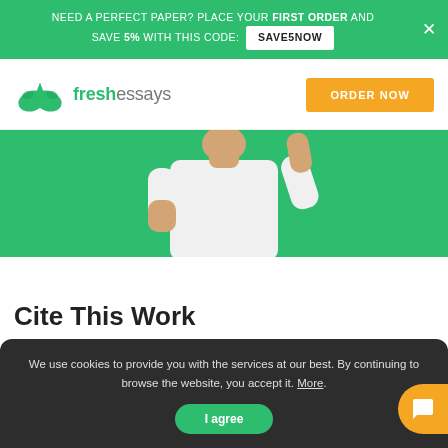NEED A PERFECT PAPER? PLACE YOUR FIRST ORDER AND SAVE 5% WITH THIS CODE: SAVE5NOW
[Figure (logo): FreshEssays logo — green open book icon with 'freshessays' text]
[Figure (photo): Person in white t-shirt against green background, thinking pose]
Cite This Work
We use cookies to provide you with the services at our best. By continuing to browse the website, you accept it. More.